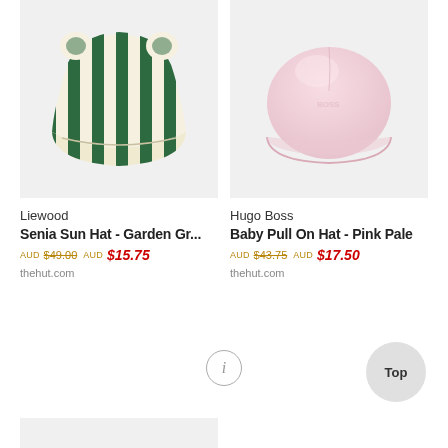[Figure (photo): Liewood Senia Sun Hat in garden green stripe pattern with ear details, displayed on light grey background]
[Figure (photo): Hugo Boss Baby Pull On Hat in pink pale color, dome-shaped beanie, displayed on white background]
Liewood
Senia Sun Hat - Garden Gr...
AUD $49.00 AUD $15.75
thehut.com
Hugo Boss
Baby Pull On Hat - Pink Pale
AUD $43.75 AUD $17.50
thehut.com